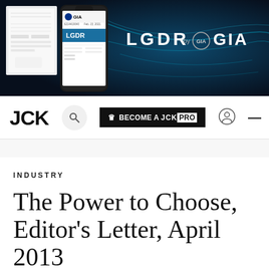[Figure (screenshot): LGDR by GIA banner advertisement showing a smartphone with GIA app displaying lab-grown diamond report, alongside printed documents, on a dark blue background with teal light streaks. Text reads 'LGDR by GIA']
[Figure (screenshot): JCK website navigation bar with JCK logo, search icon, 'BECOME A JCKPRO' button with crown icon, user account icon, and hamburger menu icon]
INDUSTRY
The Power to Choose, Editor's Letter, April 2013